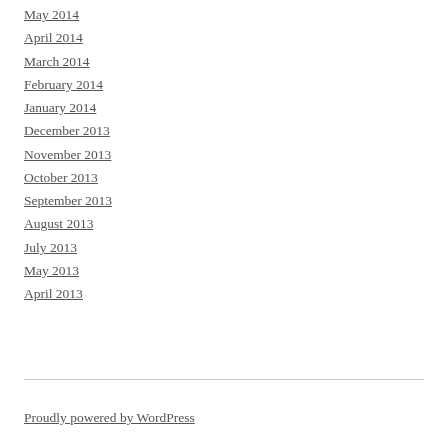May 2014
April 2014
March 2014
February 2014
January 2014
December 2013
November 2013
October 2013
September 2013
August 2013
July 2013
May 2013
April 2013
Proudly powered by WordPress